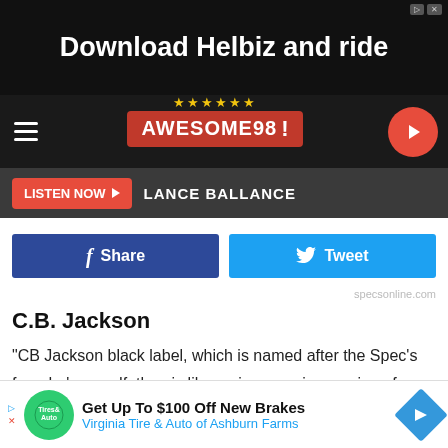[Figure (screenshot): Black banner advertisement for Helbiz with text 'Download Helbiz and ride']
[Figure (logo): Awesome 98 radio station logo with red background and stars, navigation bar with hamburger menu and play button]
LISTEN NOW ▶  LANCE BALLANCE
[Figure (screenshot): Facebook Share button (dark blue) and Twitter Tweet button (light blue)]
specsonline.com
C.B. Jackson
"CB Jackson black label, which is named after the Spec's founder's grandfather, is like an inexpensive version of Makers or Bullet." – Chris Grubbs, Spec's
[Figure (photo): Bottle cap/top of a liquor bottle shown partially]
[Figure (screenshot): Bottom advertisement: Get Up To $100 Off New Brakes - Virginia Tire & Auto of Ashburn Farms]